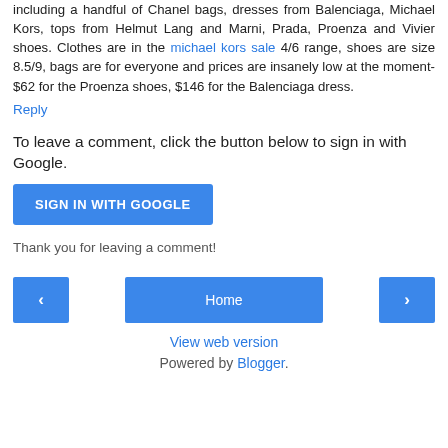including a handful of Chanel bags, dresses from Balenciaga, Michael Kors, tops from Helmut Lang and Marni, Prada, Proenza and Vivier shoes. Clothes are in the michael kors sale 4/6 range, shoes are size 8.5/9, bags are for everyone and prices are insanely low at the moment- $62 for the Proenza shoes, $146 for the Balenciaga dress.
Reply
To leave a comment, click the button below to sign in with Google.
SIGN IN WITH GOOGLE
Thank you for leaving a comment!
< Home >
View web version
Powered by Blogger.